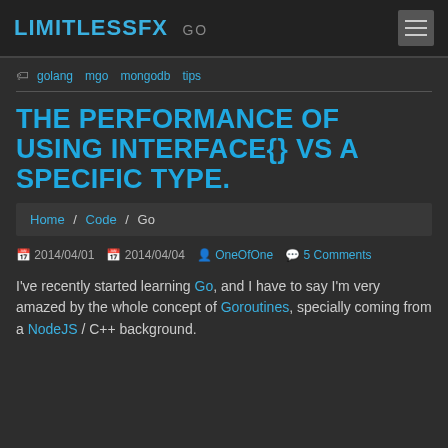LIMITLESSFX  GO
golang  mgo  mongodb  tips
THE PERFORMANCE OF USING INTERFACE{} VS A SPECIFIC TYPE.
Home / Code / Go
2014/04/01  2014/04/04  OneOfOne  5 Comments
I've recently started learning Go, and I have to say I'm very amazed by the whole concept of Goroutines, specially coming from a NodeJS / C++ background.